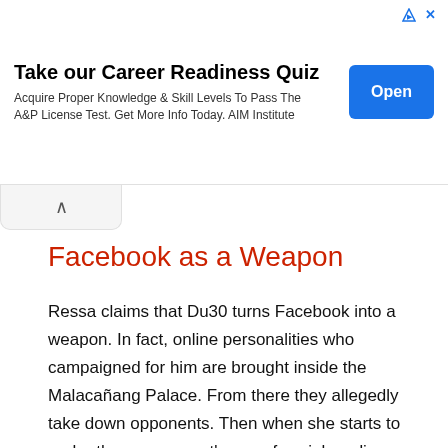[Figure (screenshot): Advertisement banner: Take our Career Readiness Quiz. Acquire Proper Knowledge & Skill Levels To Pass The A&P License Test. Get More Info Today. AIM Institute. Blue 'Open' button on the right.]
Facebook as a Weapon
Ressa claims that Du30 turns Facebook into a weapon. In fact, online personalities who campaigned for him are brought inside the Malacañang Palace. From there they allegedly take down opponents. Then when she starts to probe the government's use of social media, the force of Du30's FB team turns against her, she said.